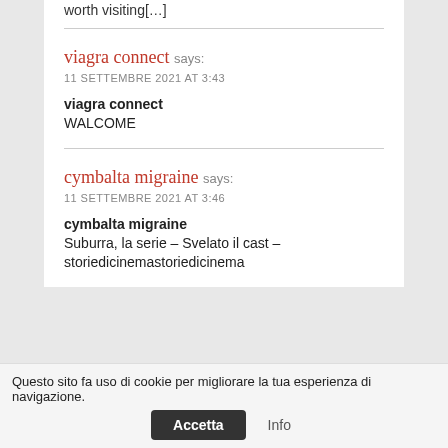worth visiting[…]
viagra connect says:
11 SETTEMBRE 2021 AT 3:43
viagra connect
WALCOME
cymbalta migraine says:
11 SETTEMBRE 2021 AT 3:46
cymbalta migraine
Suburra, la serie – Svelato il cast – storiedicinemastoriedicinema
Questo sito fa uso di cookie per migliorare la tua esperienza di navigazione.